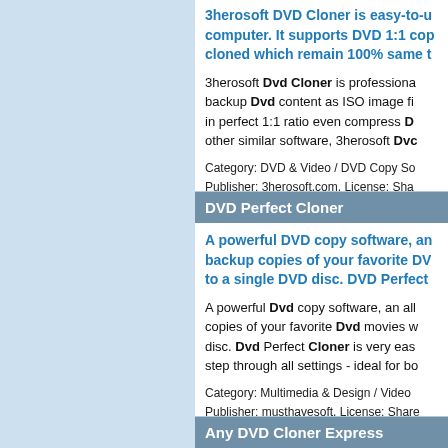3herosoft DVD Cloner is easy-to-use, backup DVD to computer. It supports DVD 1:1 copy, and the DVD cloned which remain 100% same to original.
3herosoft Dvd Cloner is professional DVD copy software, backup Dvd content as ISO image file, can backup Dvd in perfect 1:1 ratio even compress Dvd. Unlike other similar software, 3herosoft Dvc...
Category: DVD & Video / DVD Copy So...
Publisher: 3herosoft.com, License: Sha...
Platform: Windows
DVD Perfect Cloner
A powerful DVD copy software, an all backup copies of your favorite DVD movies to a single DVD disc. DVD Perfect...
A powerful Dvd copy software, an all copies of your favorite Dvd movies w disc. Dvd Perfect Cloner is very eas step through all settings - ideal for bo...
Category: Multimedia & Design / Video...
Publisher: musthavesoft, License: Share...
Platform: Unknown
Any DVD Cloner Express